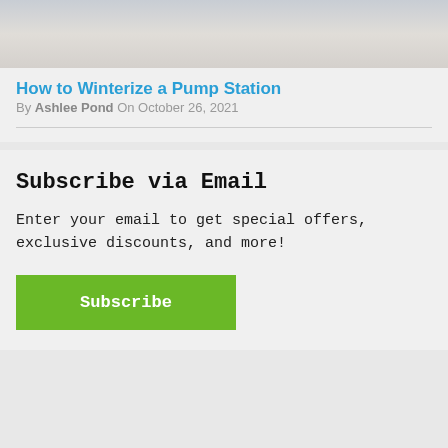[Figure (photo): Blurred background photo at top of article card]
How to Winterize a Pump Station
By Ashlee Pond On October 26, 2021
Subscribe via Email
Enter your email to get special offers, exclusive discounts, and more!
Subscribe